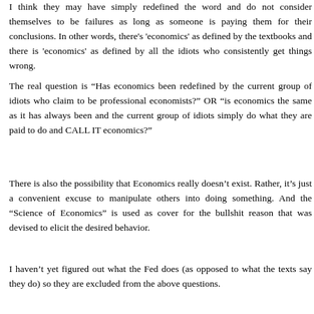I think they may have simply redefined the word and do not consider themselves to be failures as long as someone is paying them for their conclusions. In other words, there's 'economics' as defined by the textbooks and there is 'economics' as defined by all the idiots who consistently get things wrong.
The real question is “Has economics been redefined by the current group of idiots who claim to be professional economists?” OR “is economics the same as it has always been and the current group of idiots simply do what they are paid to do and CALL IT economics?”
There is also the possibility that Economics really doesn’t exist. Rather, it’s just a convenient excuse to manipulate others into doing something. And the “Science of Economics” is used as cover for the bullshit reason that was devised to elicit the desired behavior.
I haven’t yet figured out what the Fed does (as opposed to what the texts say they do) so they are excluded from the above questions.